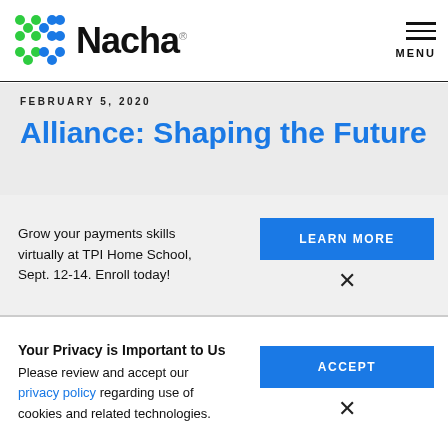Nacha [logo] MENU
FEBRUARY 5, 2020
Alliance: Shaping the Future
Grow your payments skills virtually at TPI Home School, Sept. 12-14. Enroll today!
LEARN MORE
×
Your Privacy is Important to Us
Please review and accept our privacy policy regarding use of cookies and related technologies.
ACCEPT
×